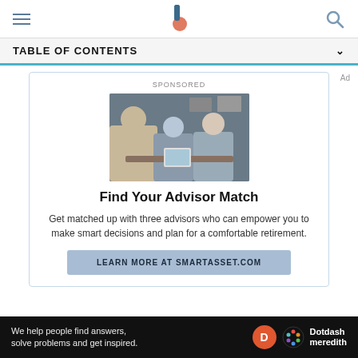Investopedia header with hamburger menu, logo, and search icon
TABLE OF CONTENTS
SPONSORED
[Figure (photo): Three people in a meeting, one showing a tablet, financial advisor consultation scene]
Find Your Advisor Match
Get matched up with three advisors who can empower you to make smart decisions and plan for a comfortable retirement.
LEARN MORE AT SMARTASSET.COM
We help people find answers, solve problems and get inspired. Dotdash meredith